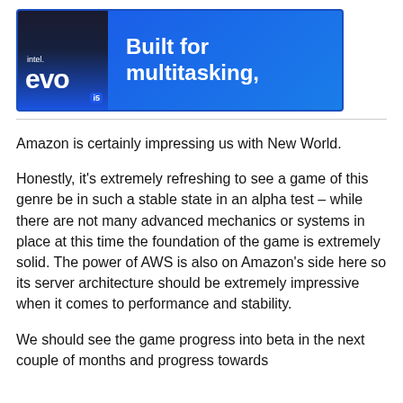[Figure (illustration): Intel Evo i5 advertisement banner with blue gradient background. Shows Intel Evo logo on the left with dark background, and white bold text reading 'Built for multitasking,' on the right.]
Amazon is certainly impressing us with New World.
Honestly, it’s extremely refreshing to see a game of this genre be in such a stable state in an alpha test – while there are not many advanced mechanics or systems in place at this time the foundation of the game is extremely solid. The power of AWS is also on Amazon’s side here so its server architecture should be extremely impressive when it comes to performance and stability.
We should see the game progress into beta in the next couple of months and progress towards